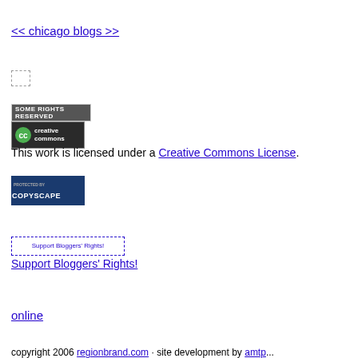<< chicago blogs >>
[Figure (illustration): Small broken/placeholder image icon]
[Figure (illustration): Some Rights Reserved Creative Commons badge with green circle CC logo on dark background]
This work is licensed under a Creative Commons License.
[Figure (illustration): Protected by Copyscape Do Not Copy badge, dark blue background with white text]
[Figure (illustration): Support Bloggers' Rights! image link]
Support Bloggers' Rights!
online
copyright 2006 regionbrand.com · site development by amtp...